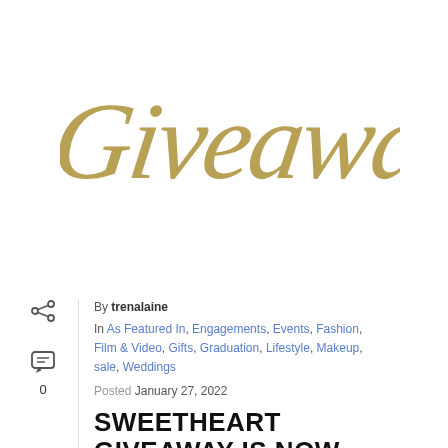[Figure (illustration): Decorative cursive script text reading 'Giveaway!' in golden/tan color on white background]
By trenalaine
In As Featured In, Engagements, Events, Fashion, Film & Video, Gifts, Graduation, Lifestyle, Makeup, sale, Weddings
Posted January 27, 2022
SWEETHEART GIVEAWAY IS NOW